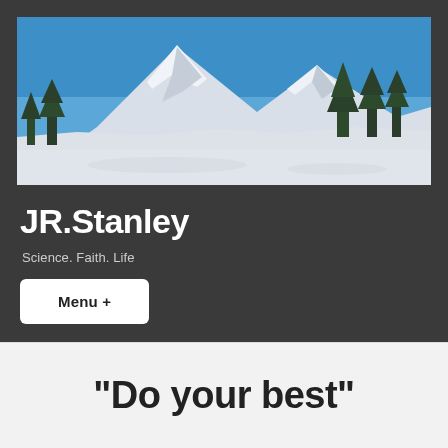[Figure (photo): Panoramic photo of a snow-covered mountain peak with evergreen trees in the foreground and a blue sky background]
JR.Stanley
Science. Faith. Life
Menu +
“Do your best”